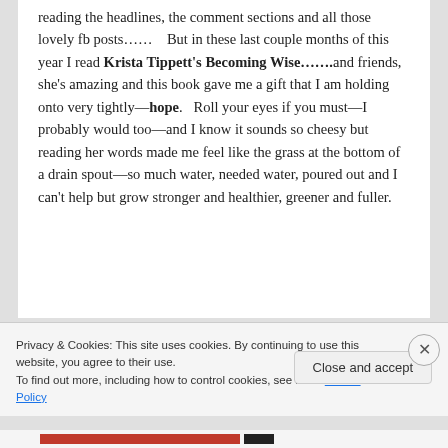reading the headlines, the comment sections and all those lovely fb posts……    But in these last couple months of this year I read Krista Tippett's Becoming Wise…….and friends, she's amazing and this book gave me a gift that I am holding onto very tightly—hope.   Roll your eyes if you must—I probably would too—and I know it sounds so cheesy but reading her words made me feel like the grass at the bottom of a drain spout—so much water, needed water, poured out and I can't help but grow stronger and healthier, greener and fuller.
Privacy & Cookies: This site uses cookies. By continuing to use this website, you agree to their use.
To find out more, including how to control cookies, see here: Cookie Policy
Close and accept